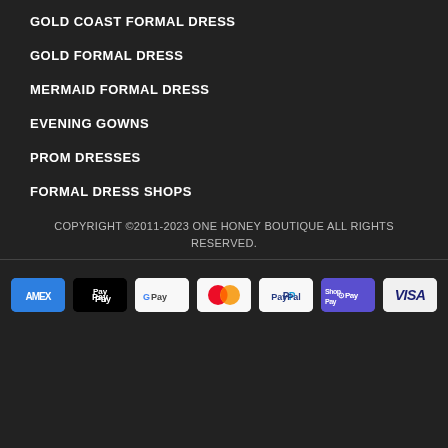GOLD COAST FORMAL DRESS
GOLD FORMAL DRESS
MERMAID FORMAL DRESS
EVENING GOWNS
PROM DRESSES
FORMAL DRESS SHOPS
COPYRIGHT ©2011-2023 ONE HONEY BOUTIQUE ALL RIGHTS RESERVED.
[Figure (other): Payment method icons: American Express, Apple Pay, Google Pay, Mastercard, PayPal, Shopify Pay, Visa]